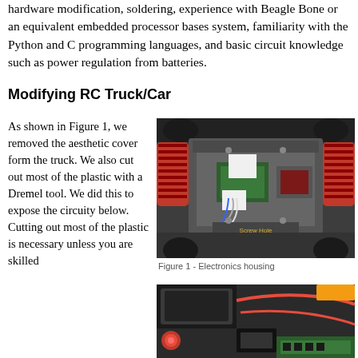hardware modification, soldering, experience with Beagle Bone or an equivalent embedded processor bases system, familiarity with the Python and C programming languages, and basic circuit knowledge such as power regulation from batteries.
Modifying RC Truck/Car
As shown in Figure 1, we removed the aesthetic cover form the truck. We also cut out most of the plastic with a Dremel tool. We did this to expose the circuity below. Cutting out most of the plastic is necessary unless you are skilled
[Figure (photo): Top-down view of RC truck chassis with aesthetic cover removed, showing electronics housing, circuit boards, and internal wiring]
Figure 1 - Electronics housing
[Figure (photo): Close-up view of RC truck internals showing battery area, red wiring, black components, and circuit board]